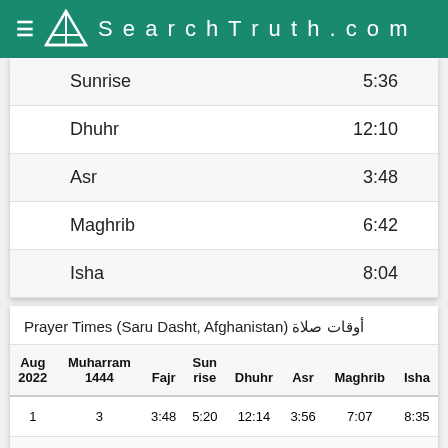SearchTruth.com
| Prayer | Time |
| --- | --- |
| Sunrise | 5:36 |
| Dhuhr | 12:10 |
| Asr | 3:48 |
| Maghrib | 6:42 |
| Isha | 8:04 |
Prayer Times (Saru Dasht, Afghanistan) أوقات صلاة
| Aug 2022 | Muharram 1444 | Fajr | Sun rise | Dhuhr | Asr | Maghrib | Isha |
| --- | --- | --- | --- | --- | --- | --- | --- |
| 1 | 3 | 3:48 | 5:20 | 12:14 | 3:56 | 7:07 | 8:35 |
| 2 | 4 | 3:49 | 5:20 | 12:14 | 3:56 | 7:07 | 8:34 |